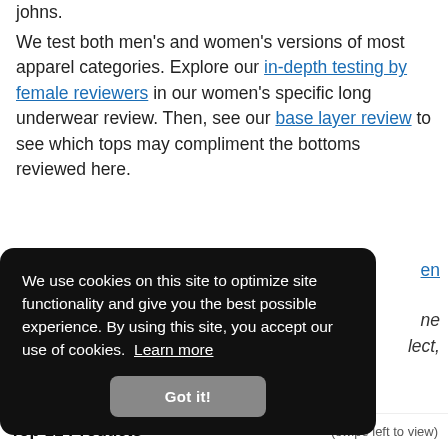johns.
We test both men's and women's versions of most apparel categories. Explore our in-depth testing by female reviewers in our women's specific long underwear review. Then, see our base layer review to see which tops may compliment the bottoms reviewed here.
[Figure (screenshot): Cookie consent banner overlay with dark background. Text reads: 'We use cookies on this site to optimize site functionality and give you the best possible experience. By using this site, you accept our use of cookies. Learn more' with a 'Got it!' button.]
Top 11 Products
(swipe left to view)